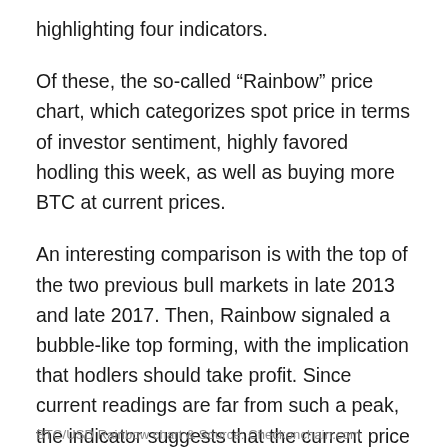highlighting four indicators.
Of these, the so-called “Rainbow” price chart, which categorizes spot price in terms of investor sentiment, highly favored hodling this week, as well as buying more BTC at current prices.
An interesting comparison is with the top of the two previous bull markets in late 2013 and late 2017. Then, Rainbow signaled a bubble-like top forming, with the implication that hodlers should take profit. Since current readings are far from such a peak, the indicator suggests that the current price gains still have a long way to go before the bull cycle top is in.
BTC/USD Rainbow chart & Source: Checkonchain.com